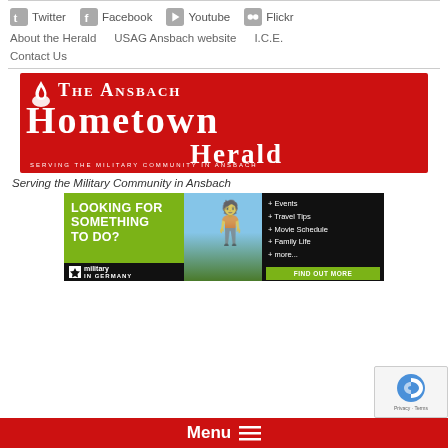Twitter  Facebook  Youtube  Flickr
About the Herald
USAG Ansbach website
I.C.E.
Contact Us
[Figure (logo): The Ansbach Hometown Herald logo on red background with flame icon and text 'Serving the Military Community in Ansbach']
Serving the Military Community in Ansbach
[Figure (infographic): Military in Germany advertisement banner: 'Looking for Something to Do?' with person with binoculars photo, listing Events, Travel Tips, Movie Schedule, Family Life, more. Find Out More button.]
Menu